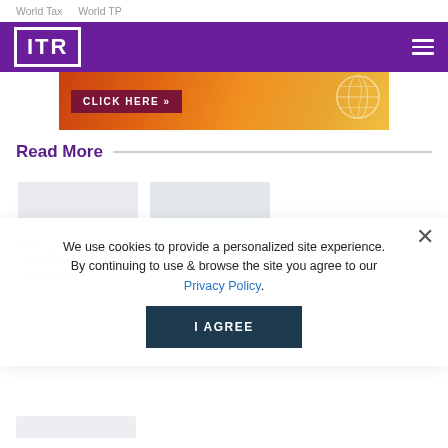World Tax    World TP
[Figure (logo): ITR (International Tax Review) logo in white on purple header bar with hamburger menu icon]
[Figure (infographic): Orange/red gradient banner advertisement with 'CLICK HERE »' button and globe graphic]
Read More
We use cookies to provide a personalized site experience. By continuing to use & browse the site you agree to our Privacy Policy.
I AGREE
Meeting the contemporaneous: a practical guide